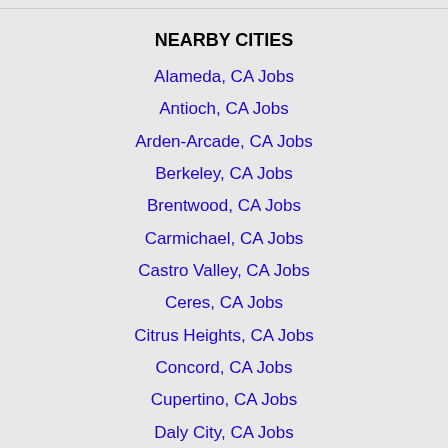NEARBY CITIES
Alameda, CA Jobs
Antioch, CA Jobs
Arden-Arcade, CA Jobs
Berkeley, CA Jobs
Brentwood, CA Jobs
Carmichael, CA Jobs
Castro Valley, CA Jobs
Ceres, CA Jobs
Citrus Heights, CA Jobs
Concord, CA Jobs
Cupertino, CA Jobs
Daly City, CA Jobs
Danville, CA Jobs
Davis, CA Jobs
Dublin, CA Jobs
Elk Grove, CA Jobs